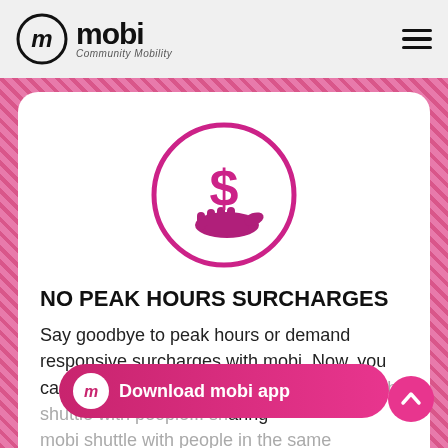mobi Community Mobility
[Figure (illustration): Pink circle outline containing a hand holding a dollar sign icon, in magenta/pink color]
NO PEAK HOURS SURCHARGES
Say goodbye to peak hours or demand responsive surcharges with mobi. Now, you can ride at a guaranteed, fee fixed price mo... sharing mobi shuttle with people in the same
[Figure (other): Download mobi app button - pink pill-shaped button with mobi logo circle and text 'Download mobi app']